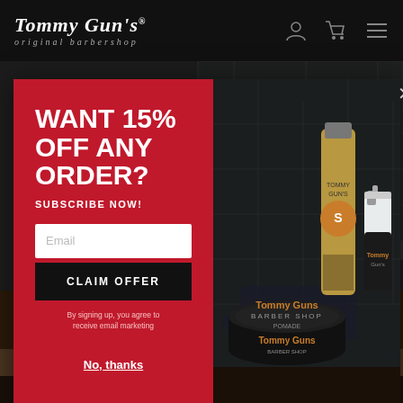Tommy Gun's original barbershop
[Figure (screenshot): Dark barbershop interior background with barber chairs and tiled walls]
WANT 15% OFF ANY ORDER?
SUBSCRIBE NOW!
Email
CLAIM OFFER
By signing up, you agree to receive email marketing
No, thanks
[Figure (photo): Tommy Gun's barbershop hair products: a tin of pomade, a squeeze tube, and a small spray bottle on a dark surface with tile background]